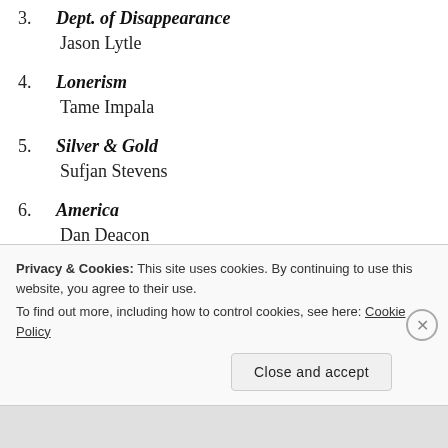3. Dept. of Disappearance — Jason Lytle
4. Lonerism — Tame Impala
5. Silver & Gold — Sufjan Stevens
6. America — Dan Deacon
7. 'Allelujah! Don't Bend! Ascend! — Godspeed You! Black Emperor
8. All We Love We Leave Behind — Converge
Privacy & Cookies: This site uses cookies. By continuing to use this website, you agree to their use.
To find out more, including how to control cookies, see here: Cookie Policy